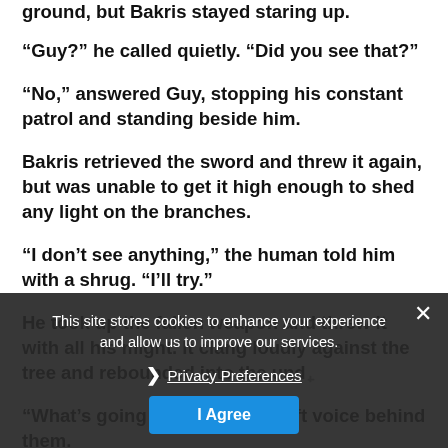ground, but Bakris stayed staring up.
“Guy?” he called quietly. “Did you see that?”
“No,” answered Guy, stopping his constant patrol and standing beside him.
Bakris retrieved the sword and threw it again, but was unable to get it high enough to shed any light on the branches.
“I don’t see anything,” the human told him with a shrug. “I’ll try.”
He took up the fallen weapon and threw it with all his might. It clang loudly against the tree and rebounded into the und…
“What’s going on?” asked a soft voice behind them.
They turned to see Ela stood near the fire, blinking at them. Stood as she was between the fire and them, her purple skin seemed unusually dark. Her own white…
This site stores cookies to enhance your experience and allow us to improve our services.
❯ Privacy Preferences
I Agree